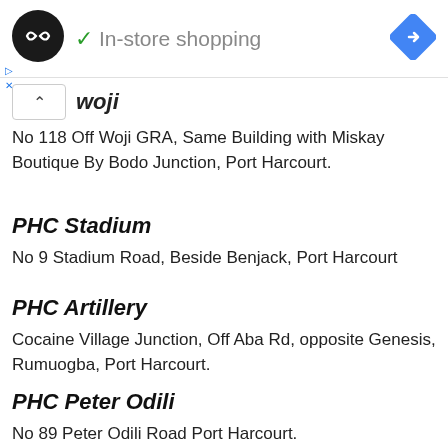[Figure (screenshot): Ad banner with circular logo showing double arrow symbol, green checkmark and 'In-store shopping' text, blue diamond navigation icon, and small ad indicator icons]
Woji
No 118 Off Woji GRA, Same Building with Miskay Boutique By Bodo Junction, Port Harcourt.
PHC Stadium
No 9 Stadium Road, Beside Benjack, Port Harcourt
PHC Artillery
Cocaine Village Junction, Off Aba Rd, opposite Genesis, Rumuogba, Port Harcourt.
PHC Peter Odili
No 89 Peter Odili Road Port Harcourt.